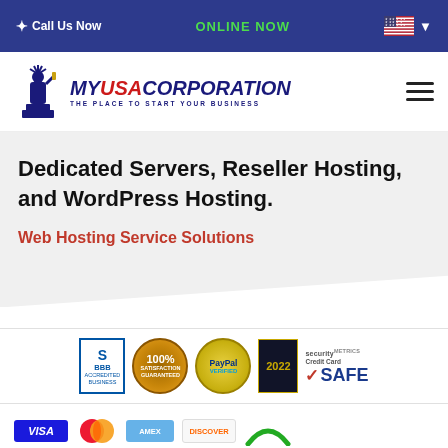☆ Call Us Now   ONLINE NOW
[Figure (logo): MyUSACorporation logo — Statue of Liberty icon with text MY USA CORPORATION / THE PLACE TO START YOUR BUSINESS]
Dedicated Servers, Reseller Hosting, and WordPress Hosting.
Web Hosting Service Solutions
[Figure (infographic): Trust badges row: BBB accredited business, 100% Satisfaction, PayPal Verified, 2022 award, SecurityMetrics Credit Card SAFE]
[Figure (infographic): Payment method logos row: Visa, Mastercard, American Express, and other payment providers]